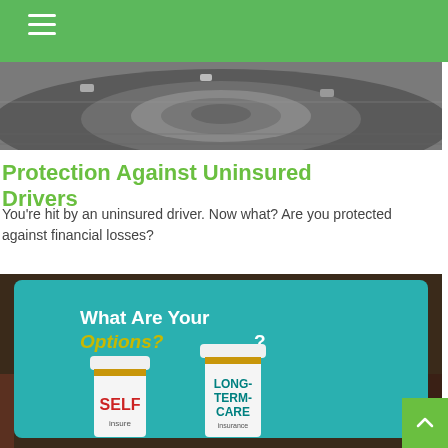[Figure (photo): Aerial view of a highway interchange with vehicles]
Protection Against Uninsured Drivers
You're hit by an uninsured driver. Now what? Are you protected against financial losses?
[Figure (photo): Tablet screen showing 'What Are Your Options?' with two pill bottles labeled 'SELF Insure' and 'LONG-TERM-CARE Insurance']